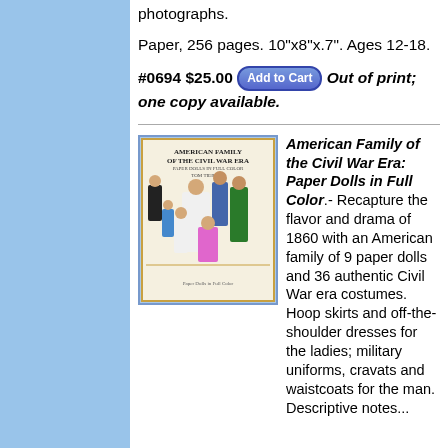photographs.
Paper, 256 pages. 10"x8"x.7". Ages 12-18.
#0694 $25.00 [Add to Cart] Out of print; one copy available.
[Figure (illustration): Book cover for 'American Family of the Civil War Era: Paper Dolls in Full Color' by Tom Tierney, showing illustrated paper dolls in Civil War era clothing.]
American Family of the Civil War Era: Paper Dolls in Full Color.- Recapture the flavor and drama of 1860 with an American family of 9 paper dolls and 36 authentic Civil War era costumes. Hoop skirts and off-the-shoulder dresses for the ladies; military uniforms, cravats and waistcoats for the man. Descriptive notes...